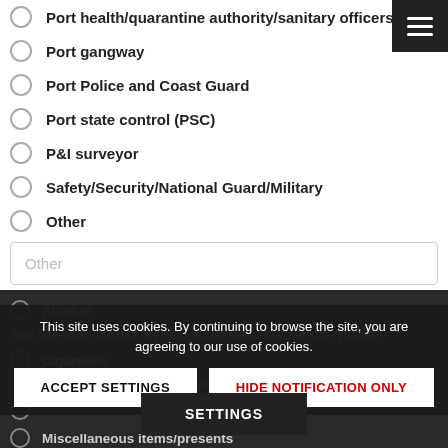Port health/quarantine authority/sanitary officers
Port gangway
Port Police and Coast Guard
Port state control (PSC)
P&I surveyor
Safety/Security/National Guard/Military
Other
Other
10. What was demanded? (Required)
Alcohol
Cigarettes
Large cash payments (more than USD 150 (specify)
Miscellaneous items/presents
Small cash payments less than USD 150 (specify amount in comments)
This site uses cookies. By continuing to browse the site, you are agreeing to our use of cookies.
ACCEPT SETTINGS
HIDE NOTIFICATION ONLY
SETTINGS